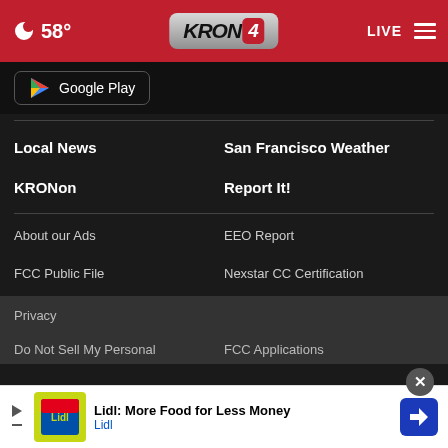58° KRON4 LIVE
[Figure (logo): Google Play store badge]
Local News
San Francisco Weather
KRONon
Report It!
About our Ads
EEO Report
FCC Public File
Nexstar CC Certification
Privacy
Do Not Sell My Personal
FCC Applications
[Figure (infographic): Lidl advertisement: More Food for Less Money]